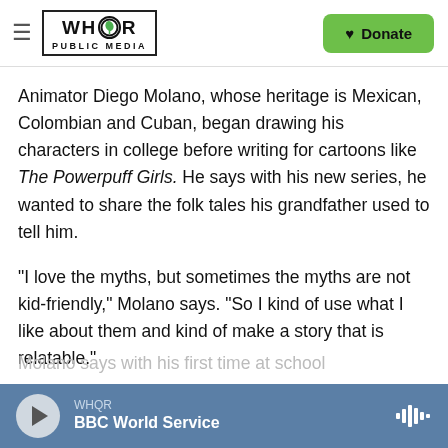WHQR PUBLIC MEDIA | Donate
Animator Diego Molano, whose heritage is Mexican, Colombian and Cuban, began drawing his characters in college before writing for cartoons like The Powerpuff Girls. He says with his new series, he wanted to share the folk tales his grandfather used to tell him.
"I love the myths, but sometimes the myths are not kid-friendly," Molano says. "So I kind of use what I like about them and kind of make a story that is relatable."
WHQR | BBC World Service